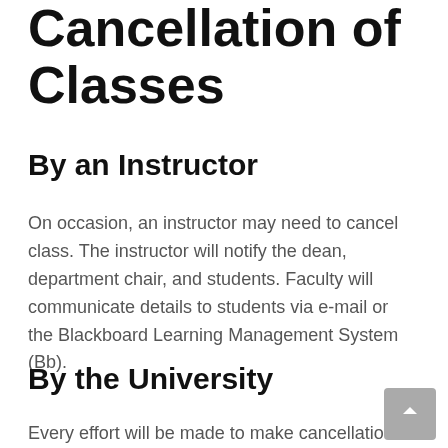Cancellation of Classes
By an Instructor
On occasion, an instructor may need to cancel class. The instructor will notify the dean, department chair, and students. Faculty will communicate details to students via e-mail or the Blackboard Learning Management System (Bb).
By the University
Every effort will be made to make cancellation